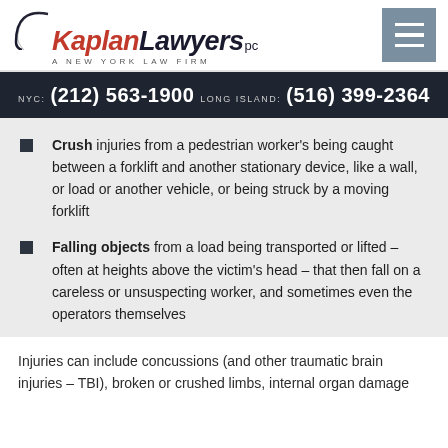KaplanLawyers PC — A New York Law Firm
NYC: (212) 563-1900  LONG ISLAND: (516) 399-2364
Crush injuries from a pedestrian worker's being caught between a forklift and another stationary device, like a wall, or load or another vehicle, or being struck by a moving forklift
Falling objects from a load being transported or lifted – often at heights above the victim's head – that then fall on a careless or unsuspecting worker, and sometimes even the operators themselves
Injuries can include concussions (and other traumatic brain injuries – TBI), broken or crushed limbs, internal organ damage